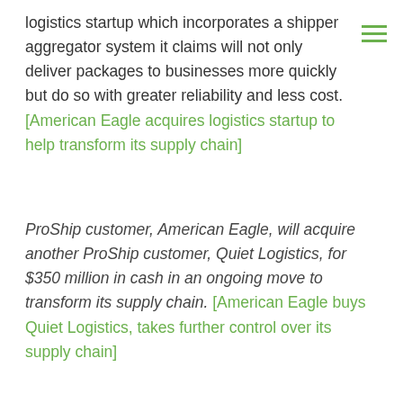logistics startup which incorporates a shipper aggregator system it claims will not only deliver packages to businesses more quickly but do so with greater reliability and less cost. [American Eagle acquires logistics startup to help transform its supply chain]
ProShip customer, American Eagle, will acquire another ProShip customer, Quiet Logistics, for $350 million in cash in an ongoing move to transform its supply chain. [American Eagle buys Quiet Logistics, takes further control over its supply chain]